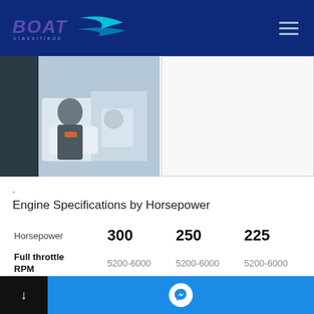BOAT Classifieds
[Figure (photo): Person sitting in a boat cockpit, viewed from side, white interior boat seating]
[Figure (photo): White/blank boat image panel]
.
Engine Specifications by Horsepower
|  | 300 | 250 | 225 |
| --- | --- | --- | --- |
| Horsepower | 300 | 250 | 225 |
| Full throttle RPM | 5200-6000 | 5200-6000 | 5200-6000 |
| Engine type | V8 | V8 | V6 |
Messenger chat